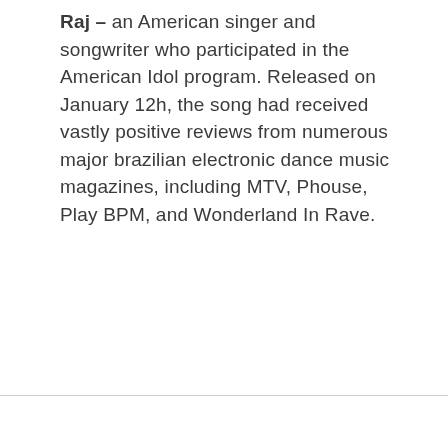Raj – an American singer and songwriter who participated in the American Idol program. Released on January 12h, the song had received vastly positive reviews from numerous major brazilian electronic dance music magazines, including MTV, Phouse, Play BPM, and Wonderland In Rave.